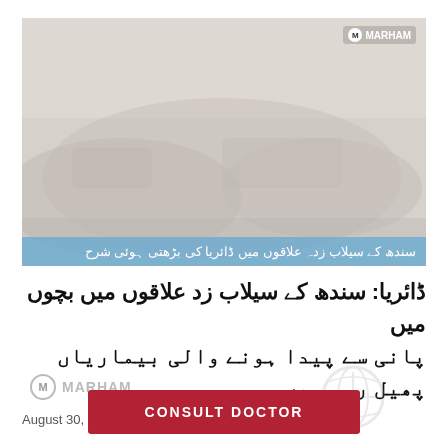[Figure (photo): Flood scene in Sindh showing people and debris in flooded area, with MARHAM logo watermark in top right corner]
سندھ کے سیلاب زدہ علاقوں میں ڈائریا کی بڑھتی ہوئی شرح
ڈائریا: سندھ کے سیلاب زد علاقوں میں بچوں میں پانی سے پیدا ہونے والی بیماریاں پھیل رہی ہیں
August 30, 2022
MARHAM
CONSULT DOCTOR